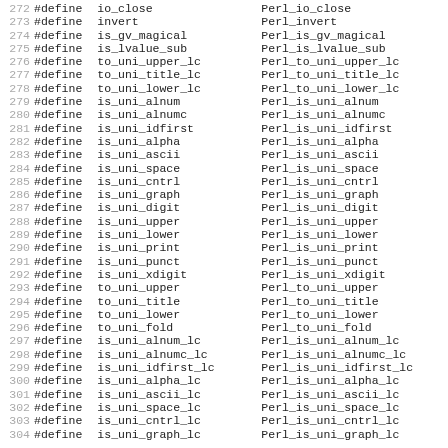| line | define | name | mapped |
| --- | --- | --- | --- |
| 272 | #define | io_close | Perl_io_close |
| 273 | #define | invert | Perl_invert |
| 274 | #define | is_gv_magical | Perl_is_gv_magical |
| 275 | #define | is_lvalue_sub | Perl_is_lvalue_sub |
| 276 | #define | to_uni_upper_lc | Perl_to_uni_upper_lc |
| 277 | #define | to_uni_title_lc | Perl_to_uni_title_lc |
| 278 | #define | to_uni_lower_lc | Perl_to_uni_lower_lc |
| 279 | #define | is_uni_alnum | Perl_is_uni_alnum |
| 280 | #define | is_uni_alnumc | Perl_is_uni_alnumc |
| 281 | #define | is_uni_idfirst | Perl_is_uni_idfirst |
| 282 | #define | is_uni_alpha | Perl_is_uni_alpha |
| 283 | #define | is_uni_ascii | Perl_is_uni_ascii |
| 284 | #define | is_uni_space | Perl_is_uni_space |
| 285 | #define | is_uni_cntrl | Perl_is_uni_cntrl |
| 286 | #define | is_uni_graph | Perl_is_uni_graph |
| 287 | #define | is_uni_digit | Perl_is_uni_digit |
| 288 | #define | is_uni_upper | Perl_is_uni_upper |
| 289 | #define | is_uni_lower | Perl_is_uni_lower |
| 290 | #define | is_uni_print | Perl_is_uni_print |
| 291 | #define | is_uni_punct | Perl_is_uni_punct |
| 292 | #define | is_uni_xdigit | Perl_is_uni_xdigit |
| 293 | #define | to_uni_upper | Perl_to_uni_upper |
| 294 | #define | to_uni_title | Perl_to_uni_title |
| 295 | #define | to_uni_lower | Perl_to_uni_lower |
| 296 | #define | to_uni_fold | Perl_to_uni_fold |
| 297 | #define | is_uni_alnum_lc | Perl_is_uni_alnum_lc |
| 298 | #define | is_uni_alnumc_lc | Perl_is_uni_alnumc_lc |
| 299 | #define | is_uni_idfirst_lc | Perl_is_uni_idfirst_lc |
| 300 | #define | is_uni_alpha_lc | Perl_is_uni_alpha_lc |
| 301 | #define | is_uni_ascii_lc | Perl_is_uni_ascii_lc |
| 302 | #define | is_uni_space_lc | Perl_is_uni_space_lc |
| 303 | #define | is_uni_cntrl_lc | Perl_is_uni_cntrl_lc |
| 304 | #define | is_uni_graph_lc | Perl_is_uni_graph_lc |